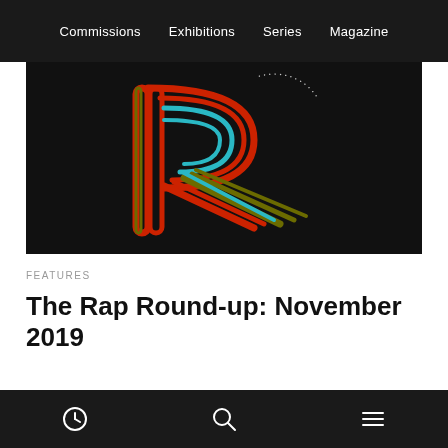Commissions   Exhibitions   Series   Magazine
[Figure (logo): Stylized letter R logo made of concentric neon-colored outlines (red, teal/cyan, olive/dark yellow) on a black background, with a small decorative arc of text near the top right]
FEATURES
The Rap Round-up: November 2019
clock icon   search icon   menu icon